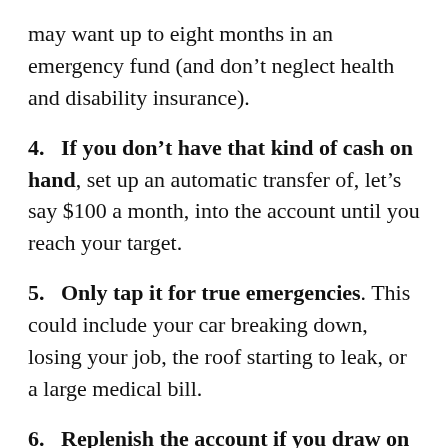may want up to eight months in an emergency fund (and don’t neglect health and disability insurance).
4. If you don’t have that kind of cash on hand, set up an automatic transfer of, let’s say $100 a month, into the account until you reach your target.
5. Only tap it for true emergencies. This could include your car breaking down, losing your job, the roof starting to leak, or a large medical bill.
6. Replenish the account if you draw on the funds. Unplanned expenses aren’t one and done. They may even come in threes.
Setting up a fund like this may not be a thrill, but